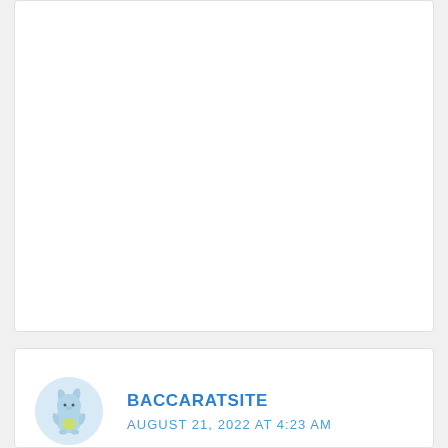[Figure (other): Empty white card area at top of page]
[Figure (illustration): Circular avatar with a cartoon blue rabbit/monster character illustration on light blue background]
BACCARATSITE
AUGUST 21, 2022 AT 4:23 AM